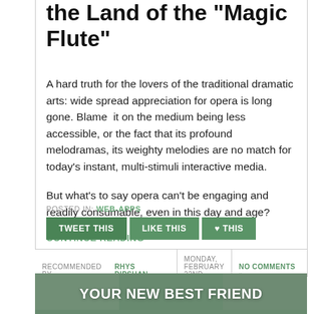the Land of the "Magic Flute"
A hard truth for the lovers of the traditional dramatic arts: wide spread appreciation for opera is long gone. Blame it on the medium being less accessible, or the fact that its profound melodramas, its weighty melodies are no match for today’s instant, multi-stimuli interactive media.
But what’s to say opera can’t be engaging and readily consumable, even in this day and age?
CONTINUE READING →
POSTED IN: WEB-APPS
TWEET THIS  LIKE THIS  ♥ THIS
RECOMMENDED BY RHYS DIPSHAN  MONDAY, FEBRUARY 22ND, 2016  NO COMMENTS »
YOUR NEW BEST FRIEND